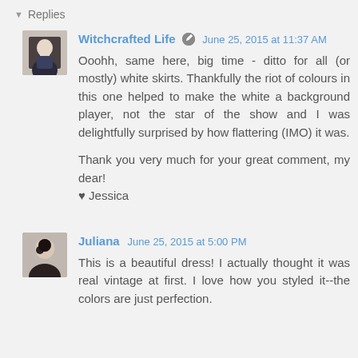▾ Replies
Witchcrafted Life  June 25, 2015 at 11:37 AM

Ooohh, same here, big time - ditto for all (or mostly) white skirts. Thankfully the riot of colours in this one helped to make the white a background player, not the star of the show and I was delightfully surprised by how flattering (IMO) it was.

Thank you very much for your great comment, my dear!
♥ Jessica
Juliana  June 25, 2015 at 5:00 PM

This is a beautiful dress! I actually thought it was real vintage at first. I love how you styled it--the colors are just perfection.